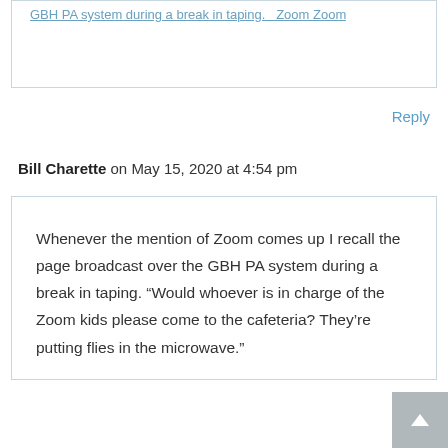GBH PA system during a break in taping. Zoom Zoom
Reply
Bill Charette on May 15, 2020 at 4:54 pm
Whenever the mention of Zoom comes up I recall the page broadcast over the GBH PA system during a break in taping. “Would whoever is in charge of the Zoom kids please come to the cafeteria? They’re putting flies in the microwave.”
Reply